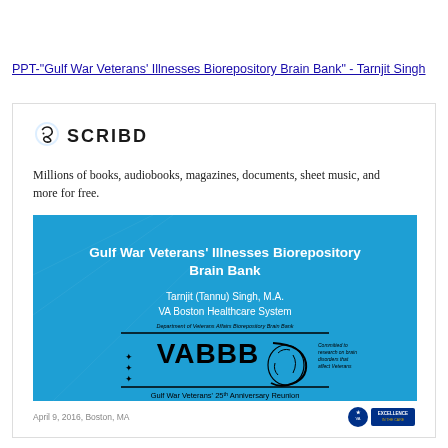PPT-"Gulf War Veterans' Illnesses Biorepository Brain Bank" - Tarnjit Singh
[Figure (screenshot): Scribd logo and tagline followed by a thumbnail slide preview showing the Gulf War Veterans Illnesses Biorepository Brain Bank presentation cover slide with VABBB logo on blue background]
April 9, 2016, Boston, MA